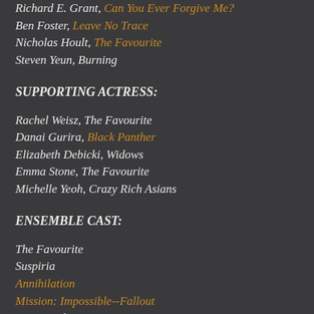Richard E. Grant, Can You Ever Forgive Me?
Ben Foster, Leave No Trace
Nicholas Hoult, The Favourite
Steven Yeun, Burning
SUPPORTING ACTRESS:
Rachel Weisz, The Favourite
Danai Gurira, Black Panther
Elizabeth Debicki, Widows
Emma Stone, The Favourite
Michelle Yeoh, Crazy Rich Asians
ENSEMBLE CAST:
The Favourite
Suspiria
Annihilation
Mission: Impossible--Fallout
Crazy Rich Asians